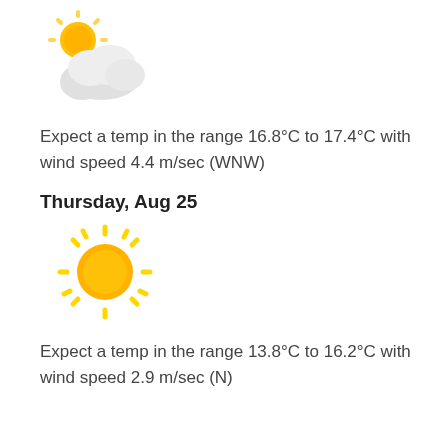[Figure (illustration): Weather icon showing partly cloudy with sun peeking behind a cloud]
Expect a temp in the range 16.8°C to 17.4°C with wind speed 4.4 m/sec (WNW)
Thursday, Aug 25
[Figure (illustration): Weather icon showing a bright yellow sun]
Expect a temp in the range 13.8°C to 16.2°C with wind speed 2.9 m/sec (N)